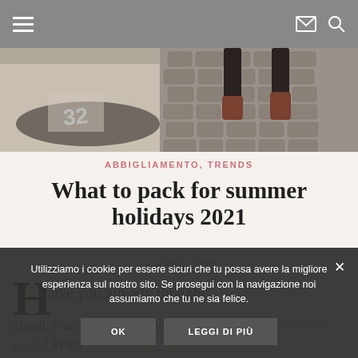Navigation bar with hamburger menu, email icon, and search icon
[Figure (photo): Top-down photo of person's legs/feet in brown boots on cobblestone pavement with a painted number 32]
ABBIGLIAMENTO, TRENDS
What to pack for summer holidays 2021
26 APRIL 2021
ave you already thought
Utilizziamo i cookie per essere sicuri che tu possa avere la migliore esperienza sul nostro sito. Se prosegui con la navigazione noi assumiamo che tu ne sia felice.
OK   LEGGI DI PIÙ